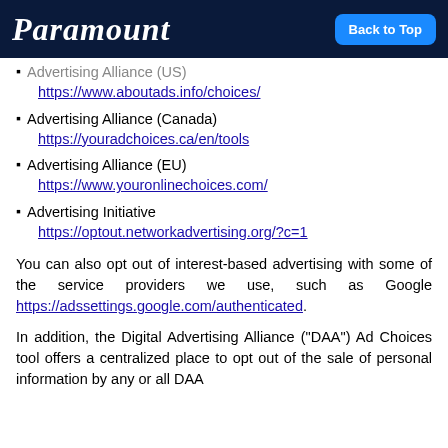Paramount | Back to Top
Advertising Alliance (US)
https://www.aboutads.info/choices/
Advertising Alliance (Canada)
https://youradchoices.ca/en/tools
Advertising Alliance (EU)
https://www.youronlinechoices.com/
Advertising Initiative
https://optout.networkadvertising.org/?c=1
You can also opt out of interest-based advertising with some of the service providers we use, such as Google https://adssettings.google.com/authenticated.
In addition, the Digital Advertising Alliance (“DAA”) Ad Choices tool offers a centralized place to opt out of the sale of personal information by any or all DAA